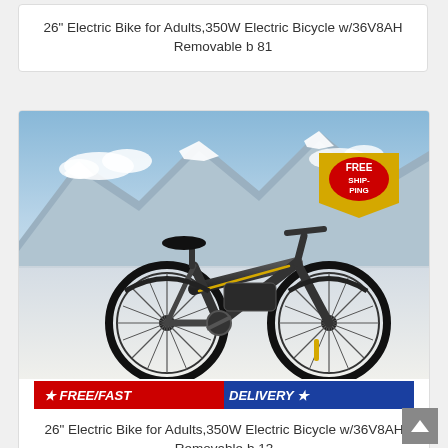26" Electric Bike for Adults,350W Electric Bicycle w/36V8AH Removable b 81
[Figure (photo): Electric bicycle (e-bike) with black frame on mountain background with snowy peaks, featuring a FREE SHIPPING badge in the upper right and a FREE/FAST DELIVERY banner at the bottom]
26" Electric Bike for Adults,350W Electric Bicycle w/36V8AH Removable b 13